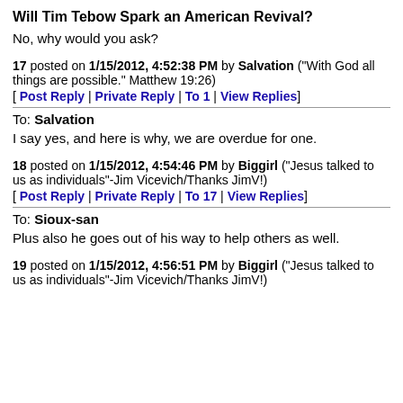**Will Tim Tebow Spark an American Revival?**
No, why would you ask?
17 posted on 1/15/2012, 4:52:38 PM by Salvation ("With God all things are possible." Matthew 19:26)
[ Post Reply | Private Reply | To 1 | View Replies]
To: Salvation
I say yes, and here is why, we are overdue for one.
18 posted on 1/15/2012, 4:54:46 PM by Biggirl ("Jesus talked to us as individuals"-Jim Vicevich/Thanks JimV!)
[ Post Reply | Private Reply | To 17 | View Replies]
To: Sioux-san
Plus also he goes out of his way to help others as well.
19 posted on 1/15/2012, 4:56:51 PM by Biggirl ("Jesus talked to us as individuals"-Jim Vicevich/Thanks JimV!)